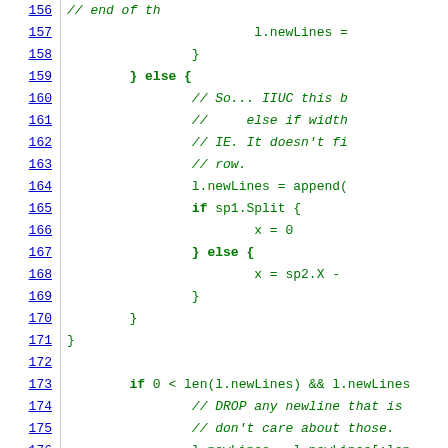[Figure (screenshot): Source code viewer showing lines 156-177 of a Go or similar language file, with line numbers on the left in blue underlined text and code on the right in green monospace font. The code shows control flow with if/else blocks, newLines assignments, and a Split condition check.]